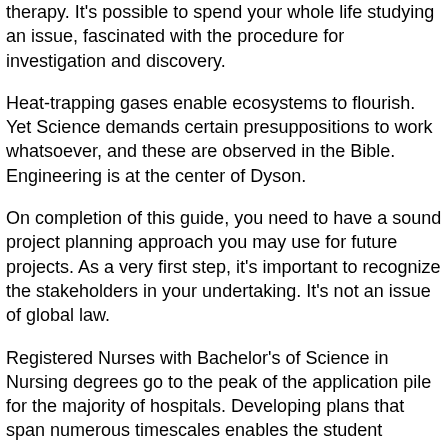therapy. It's possible to spend your whole life studying an issue, fascinated with the procedure for investigation and discovery.
Heat-trapping gases enable ecosystems to flourish. Yet Science demands certain presuppositions to work whatsoever, and these are observed in the Bible. Engineering is at the center of Dyson.
On completion of this guide, you need to have a sound project planning approach you may use for future projects. As a very first step, it's important to recognize the stakeholders in your undertaking. It's not an issue of global law.
Registered Nurses with Bachelor's of Science in Nursing degrees go to the peak of the application pile for the majority of hospitals. Developing plans that span numerous timescales enables the student ensure they're working on projects they find meaningful when letting different projects die. Discover